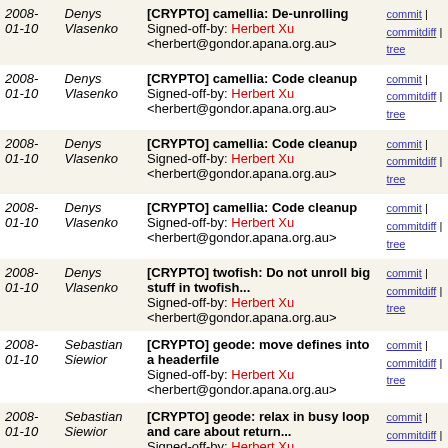| Date | Author | Message | Links |
| --- | --- | --- | --- |
| 2008-01-10 | Denys Vlasenko | [CRYPTO] camellia: De-unrolling
Signed-off-by: Herbert Xu
<herbert@gondor.apana.org.au> | commit | commitdiff | tree |
| 2008-01-10 | Denys Vlasenko | [CRYPTO] camellia: Code cleanup
Signed-off-by: Herbert Xu
<herbert@gondor.apana.org.au> | commit | commitdiff | tree |
| 2008-01-10 | Denys Vlasenko | [CRYPTO] camellia: Code cleanup
Signed-off-by: Herbert Xu
<herbert@gondor.apana.org.au> | commit | commitdiff | tree |
| 2008-01-10 | Denys Vlasenko | [CRYPTO] camellia: Code cleanup
Signed-off-by: Herbert Xu
<herbert@gondor.apana.org.au> | commit | commitdiff | tree |
| 2008-01-10 | Denys Vlasenko | [CRYPTO] twofish: Do not unroll big stuff in twofish...
Signed-off-by: Herbert Xu
<herbert@gondor.apana.org.au> | commit | commitdiff | tree |
| 2008-01-10 | Sebastian Siewior | [CRYPTO] geode: move defines into a headerfile
Signed-off-by: Herbert Xu
<herbert@gondor.apana.org.au> | commit | commitdiff | tree |
| 2008-01-10 | Sebastian Siewior | [CRYPTO] geode: relax in busy loop and care about return...
Signed-off-by: Herbert Xu | commit | commitdiff | tree |